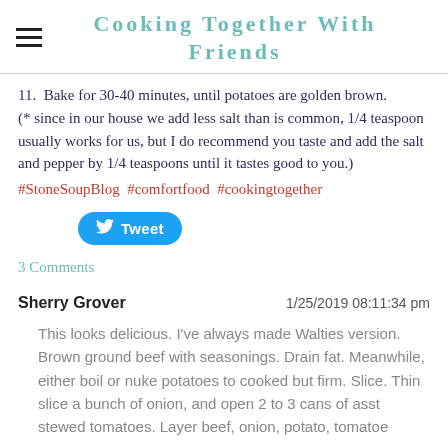Cooking Together With Friends
11. Bake for 30-40 minutes, until potatoes are golden brown. (* since in our house we add less salt than is common, 1/4 teaspoon usually works for us, but I do recommend you taste and add the salt and pepper by 1/4 teaspoons until it tastes good to you.)
#StoneSoupBlog #comfortfood #cookingtogether
Tweet
3 Comments
Sherry Grover   1/25/2019 08:11:34 pm
This looks delicious. I've always made Walties version. Brown ground beef with seasonings. Drain fat. Meanwhile, either boil or nuke potatoes to cooked but firm. Slice. Thin slice a bunch of onion, and open 2 to 3 cans of asst stewed tomatoes. Layer beef, onion, potato, tomatoe